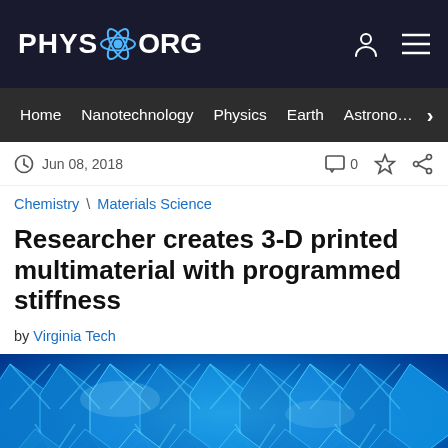PHYS.ORG
Home | Nanotechnology | Physics | Earth | Astronomy >
Jun 08, 2018  0
Chemistry \ Materials Science
Researcher creates 3-D printed multimaterial with programmed stiffness
by Virginia Tech
[Figure (photo): Close-up photograph of a blue 3-D printed multimaterial lattice structure with hourglass-shaped cells, illuminated in blue light]